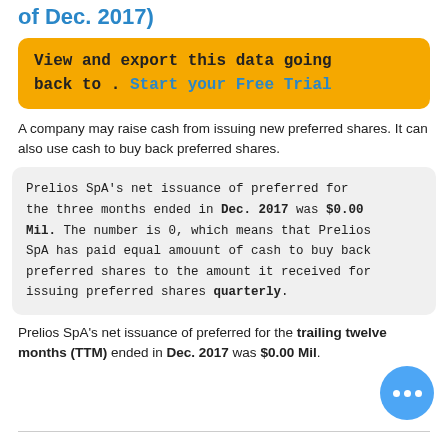of Dec. 2017)
View and export this data going back to . Start your Free Trial
A company may raise cash from issuing new preferred shares. It can also use cash to buy back preferred shares.
Prelios SpA's net issuance of preferred for the three months ended in Dec. 2017 was $0.00 Mil. The number is 0, which means that Prelios SpA has paid equal amouunt of cash to buy back preferred shares to the amount it received for issuing preferred shares quarterly.
Prelios SpA's net issuance of preferred for the trailing twelve months (TTM) ended in Dec. 2017 was $0.00 Mil.